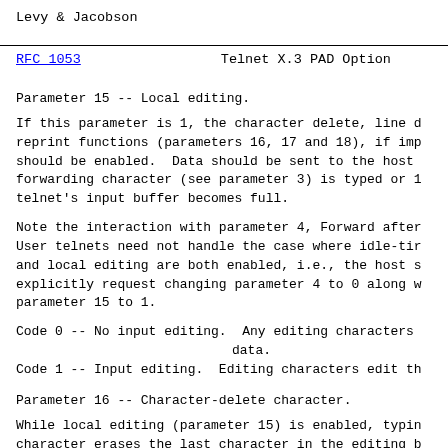Levy & Jacobson
RFC 1053                    Telnet X.3 PAD Option
Parameter 15 -- Local editing.
If this parameter is 1, the character delete, line d reprint functions (parameters 16, 17 and 18), if imp should be enabled.  Data should be sent to the host forwarding character (see parameter 3) is typed or 1 telnet's input buffer becomes full.
Note the interaction with parameter 4, Forward after User telnets need not handle the case where idle-tir and local editing are both enabled, i.e., the host s explicitly request changing parameter 4 to 0 along w parameter 15 to 1.
Code 0 -- No input editing.  Any editing characters data.
Code 1 -- Input editing.  Editing characters edit th
Parameter 16 -- Character-delete character.
While local editing (parameter 15) is enabled, typin character erases the last character in the editing b